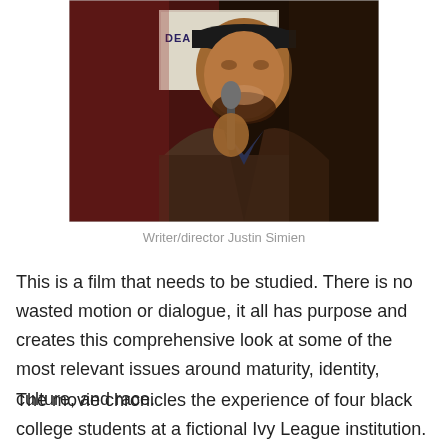[Figure (photo): A Black man wearing a cap and brown blazer speaking into a microphone at an event. In the background is a sign/poster partially visible reading 'DEAR WHITE P...' The setting appears to be an indoor venue.]
Writer/director Justin Simien
This is a film that needs to be studied. There is no wasted motion or dialogue, it all has purpose and creates this comprehensive look at some of the most relevant issues around maturity, identity, culture, and race.
The movie chronicles the experience of four black college students at a fictional Ivy League institution. One device to love about this story is that while it pokes